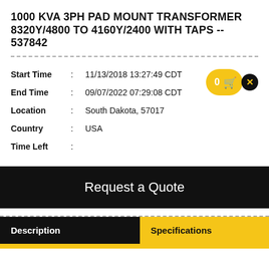1000 KVA 3PH PAD MOUNT TRANSFORMER 8320Y/4800 TO 4160Y/2400 WITH TAPS -- 537842
Start Time : 11/13/2018 13:27:49 CDT
End Time : 09/07/2022 07:29:08 CDT
Location : South Dakota, 57017
Country : USA
Time Left :
Request a Quote
Description
Specifications